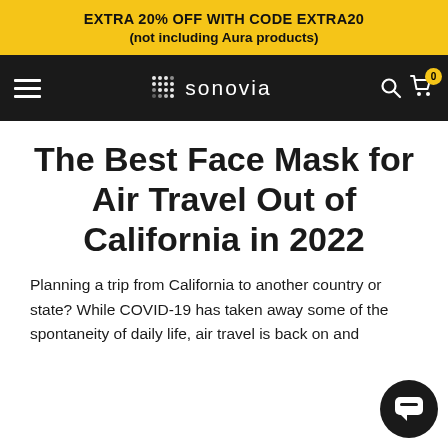EXTRA 20% OFF WITH CODE EXTRA20
(not including Aura products)
[Figure (logo): Sonovia brand logo with dot-grid icon and text on black navigation bar]
The Best Face Mask for Air Travel Out of California in 2022
Planning a trip from California to another country or state? While COVID-19 has taken away some of the spontaneity of daily life, air travel is back on and